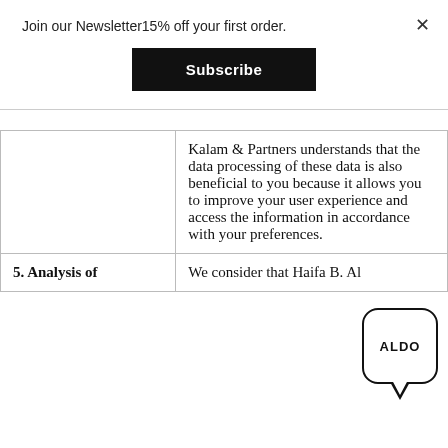Join our Newsletter15% off your first order.
Subscribe
|  | Kalam & Partners understands that the data processing of these data is also beneficial to you because it allows you to improve your user experience and access the information in accordance with your preferences. |
| 5. Analysis of | We consider that Haifa B. Al |